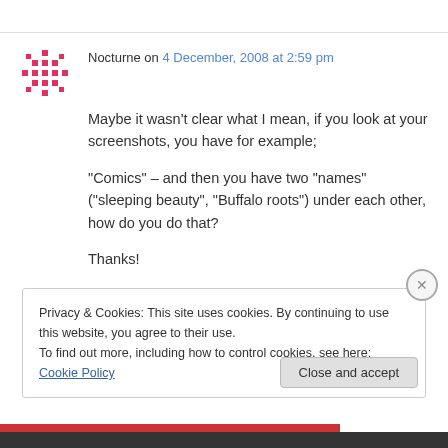Nocturne on 4 December, 2008 at 2:59 pm
Maybe it wasn't clear what I mean, if you look at your screenshots, you have for example;

“Comics” – and then you have two “names” (“sleeping beauty”, “Buffalo roots”) under each other, how do you do that?

Thanks!
Privacy & Cookies: This site uses cookies. By continuing to use this website, you agree to their use.
To find out more, including how to control cookies, see here: Cookie Policy